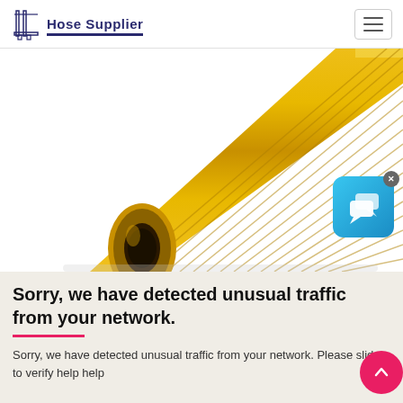Hose Supplier
[Figure (photo): Close-up photo of a yellow ribbed hose tube viewed from the end, showing the hollow circular cross-section]
Sorry, we have detected unusual traffic from your network.
Sorry, we have detected unusual traffic from your network. Please slide to verify help help